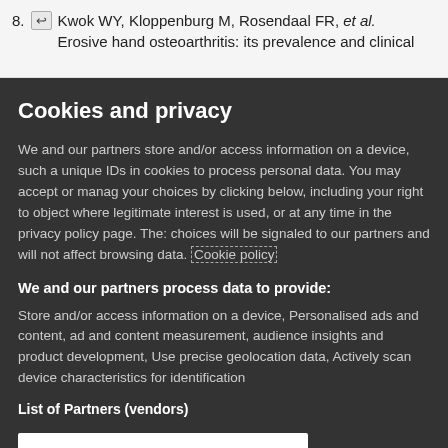8. [return icon] Kwok WY, Kloppenburg M, Rosendaal FR, et al. Erosive hand osteoarthritis: its prevalence and clinical
Cookies and privacy
We and our partners store and/or access information on a device, such as unique IDs in cookies to process personal data. You may accept or manage your choices by clicking below, including your right to object where legitimate interest is used, or at any time in the privacy policy page. These choices will be signaled to our partners and will not affect browsing data. Cookie policy
We and our partners process data to provide:
Store and/or access information on a device, Personalised ads and content, ad and content measurement, audience insights and product development, Use precise geolocation data, Actively scan device characteristics for identification
List of Partners (vendors)
I Accept